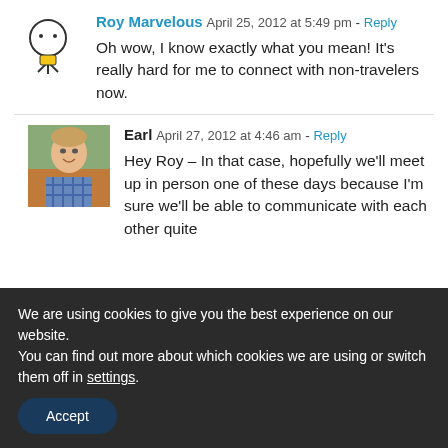Roy Marvelous   April 25, 2012 at 5:49 pm  - Reply
Oh wow, I know exactly what you mean! It's really hard for me to connect with non-travelers now.
Earl   April 27, 2012 at 4:46 am  - Reply
Hey Roy – In that case, hopefully we'll meet up in person one of these days because I'm sure we'll be able to communicate with each other quite
We are using cookies to give you the best experience on our website.
You can find out more about which cookies we are using or switch them off in settings.